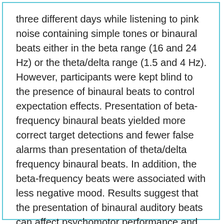three different days while listening to pink noise containing simple tones or binaural beats either in the beta range (16 and 24 Hz) or the theta/delta range (1.5 and 4 Hz). However, participants were kept blind to the presence of binaural beats to control expectation effects. Presentation of beta-frequency binaural beats yielded more correct target detections and fewer false alarms than presentation of theta/delta frequency binaural beats. In addition, the beta-frequency beats were associated with less negative mood. Results suggest that the presentation of binaural auditory beats can affect psychomotor performance and mood. This technology may have applications for the control of attention and arousal and the enhancement of h
human performance.